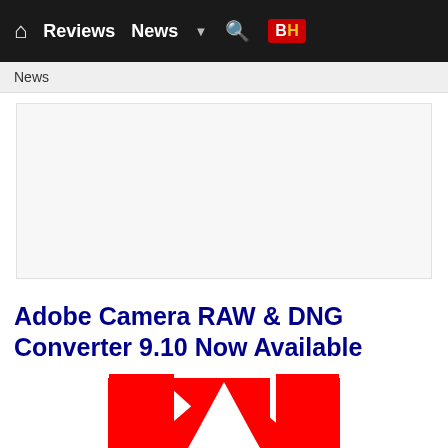Reviews  News  BH
News
[Figure (other): Advertisement placeholder area — blank white/light gray rectangle]
Adobe Camera RAW & DNG Converter 9.10 Now Available
[Figure (logo): Adobe logo — red square with white stylized letter A]